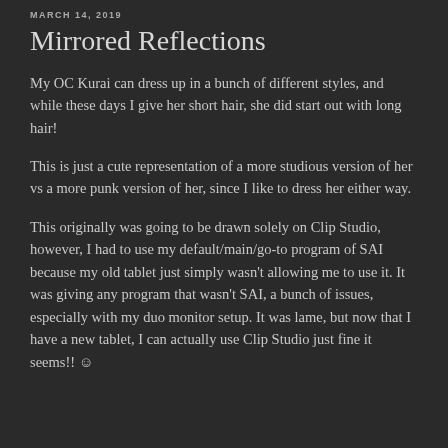MARCH 14, 2019
Mirrored Reflections
My OC Kurai can dress up in a bunch of different styles, and while these days I give her short hair, she did start out with long hair!
This is just a cute representation of a more studious version of her vs a more punk version of her, since I like to dress her either way.
This originally was going to be drawn solely on Clip Studio, however, I had to use my default/main/go-to program of SAI because my old tablet just simply wasn't allowing me to use it. It was giving any program that wasn't SAI, a bunch of issues, especially with my duo monitor setup. It was lame, but now that I have a new tablet, I can actually use Clip Studio just fine it seems!! ☺